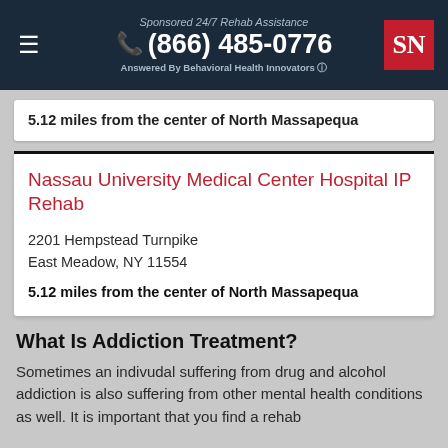Sponsored 24/7 Rehab Assistance | (866) 485-0776 | Answered By Behavioral Health Innovators
5.12 miles from the center of North Massapequa
Nassau University Medical Center Hospital IP Rehab
2201 Hempstead Turnpike
East Meadow, NY 11554
5.12 miles from the center of North Massapequa
What Is Addiction Treatment?
Sometimes an indivudal suffering from drug and alcohol addiction is also suffering from other mental health conditions as well. It is important that you find a rehab